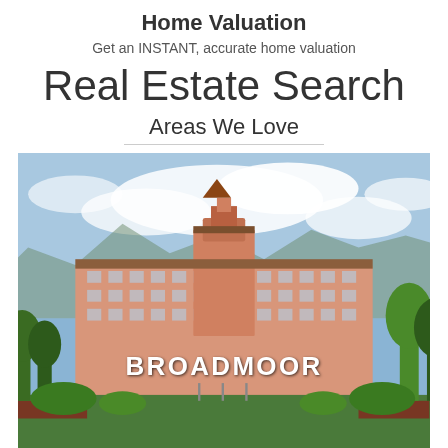Home Valuation
Get an INSTANT, accurate home valuation
Real Estate Search
Areas We Love
[Figure (photo): Photo of the Broadmoor hotel/resort building with blue sky, trees, and gardens in the foreground. White text overlay reads BROADMOOR.]